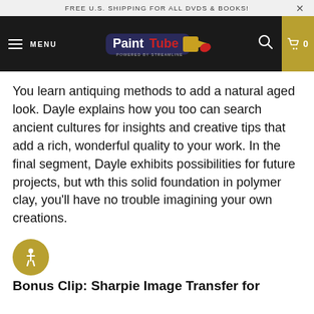FREE U.S. SHIPPING FOR ALL DVDS & BOOKS!
[Figure (logo): PaintTube logo with paint tube graphic on dark navbar, with hamburger menu, search icon, and cart]
You learn antiquing methods to add a natural aged look. Dayle explains how you too can search ancient cultures for insights and creative tips that add a rich, wonderful quality to your work. In the final segment, Dayle exhibits possibilities for future projects, but wth this solid foundation in polymer clay, you'll have no trouble imagining your own creations.
Bonus Clip: Sharpie Image Transfer for